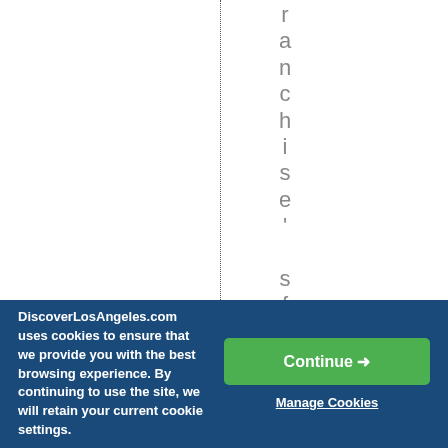franchise's first e...
DiscoverLosAngeles.com uses cookies to ensure that we provide you with the best browsing experience. By continuing to use the site, we will retain your current cookie settings.
Continue →
Manage Cookies